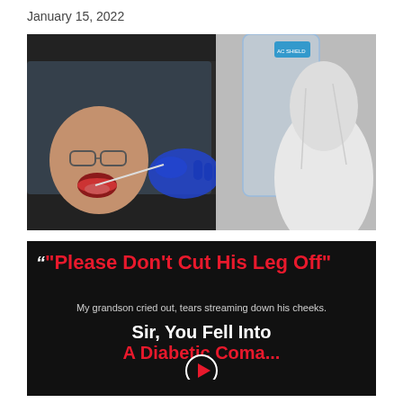January 15, 2022
[Figure (photo): A COVID-19 drive-through test being administered. A healthcare worker in blue gloves and a face shield inserts a swab into a patient's open mouth through a car window. The worker wears a white protective suit.]
[Figure (screenshot): Advertisement screenshot with dark background. Bold red text reads: "Please Don't Cut His Leg Off" followed by italic text 'My grandson cried out, tears streaming down his cheeks.' Below in white and red bold text: 'Sir, You Fell Into A Diabetic Coma...' with a partial play button at the bottom.]